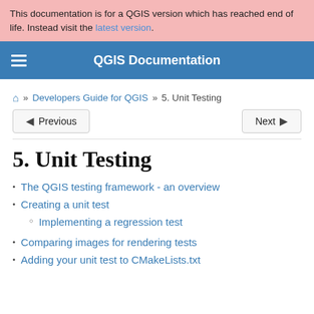This documentation is for a QGIS version which has reached end of life. Instead visit the latest version.
QGIS Documentation
🏠 » Developers Guide for QGIS » 5. Unit Testing
Previous   Next
5. Unit Testing
The QGIS testing framework - an overview
Creating a unit test
Implementing a regression test
Comparing images for rendering tests
Adding your unit test to CMakeLists.txt